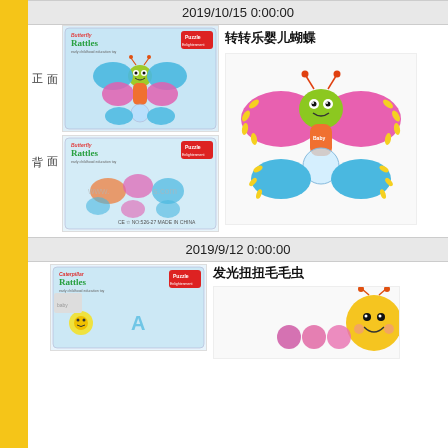2019/10/15 0:00:00
[Figure (photo): Front view of Butterfly Rattles toy packaging (Puzzle Enlightenment) showing colorful butterfly baby rattle toy]
[Figure (photo): Butterfly rattle toy out of packaging - green face with pink and blue wings]
[Figure (photo): Back view of Butterfly Rattles toy packaging showing product details]
转转乐婴儿蝴蝶
正面
背面
2019/9/12 0:00:00
[Figure (photo): Caterpillar Rattles toy packaging (Puzzle Enlightenment)]
发光扭扭毛毛虫